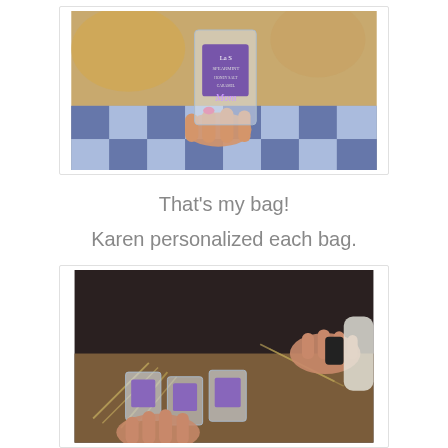[Figure (photo): A hand with pink nails holding a clear plastic bag with a purple label, placed on a blue checkered surface with golden/natural decorative elements in the background.]
That's my bag!
Karen personalized each bag.
[Figure (photo): Hands arranging multiple small clear plastic bags with purple labels on a table, surrounded by natural dried grass or wheat decorations.]